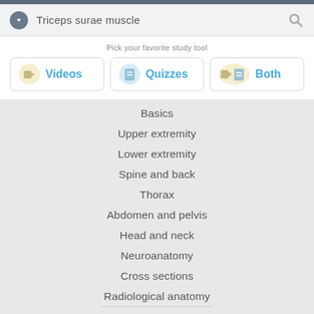Triceps surae muscle
Pick your favorite study tool
Videos
Quizzes
Both
Basics
Upper extremity
Lower extremity
Spine and back
Thorax
Abdomen and pelvis
Head and neck
Neuroanatomy
Cross sections
Radiological anatomy
HISTOLOGY